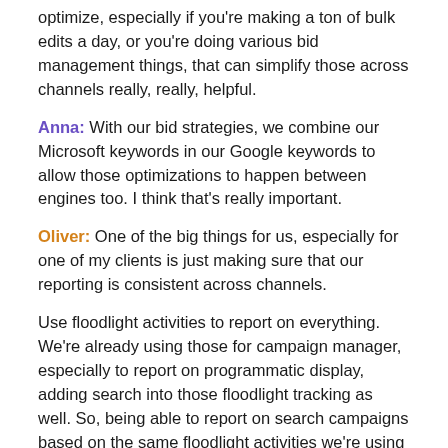optimize, especially if you're making a ton of bulk edits a day, or you're doing various bid management things, that can simplify those across channels really, really, helpful.
Anna: With our bid strategies, we combine our Microsoft keywords in our Google keywords to allow those optimizations to happen between engines too. I think that's really important.
Oliver: One of the big things for us, especially for one of my clients is just making sure that our reporting is consistent across channels.
Use floodlight activities to report on everything. We're already using those for campaign manager, especially to report on programmatic display, adding search into those floodlight tracking as well. So, being able to report on search campaigns based on the same floodlight activities we're using for everything else.
And then now Search Ads 360 is allowing social campaigns to be added, so you can report on those